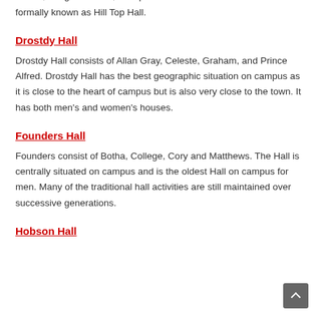Desmond Tutu Hall consists of Ellen Kuzwayo, Amina Cachalia, Calata, Margaret Smith, Hilltop 3 and Oakdene. This hall was formally known as Hill Top Hall.
Drostdy Hall
Drostdy Hall consists of Allan Gray, Celeste, Graham, and Prince Alfred. Drostdy Hall has the best geographic situation on campus as it is close to the heart of campus but is also very close to the town. It has both men's and women's houses.
Founders Hall
Founders consist of Botha, College, Cory and Matthews. The Hall is centrally situated on campus and is the oldest Hall on campus for men. Many of the traditional hall activities are still maintained over successive generations.
Hobson Hall